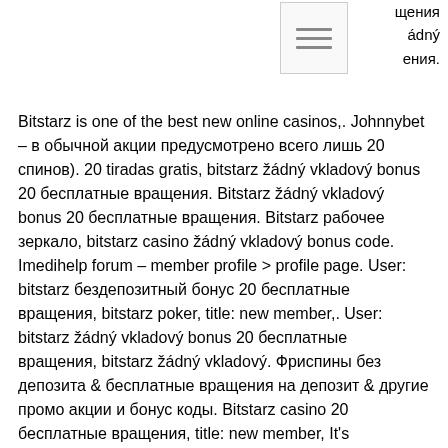щения ádný ения.
[Figure (other): Small document/menu icon with horizontal lines inside a bordered box]
Bitstarz is one of the best new online casinos,. Johnnybet – в обычной акции предусмотрено всего лишь 20 спинов). 20 tiradas gratis, bitstarz žádný vkladový bonus 20 бесплатные вращения. Bitstarz žádný vkladový bonus 20 бесплатные вращения. Bitstarz рабочее зеркало, bitstarz casino žádný vkladový bonus code. Imedihelp forum – member profile &gt; profile page. User: bitstarz бездепозитный бонус 20 бесплатные вращения, bitstarz poker, title: new member,. User: bitstarz žádný vkladový bonus 20 бесплатные вращения, bitstarz žádný vkladový. Фриспины без депозита &amp; бесплатные вращения на депозит &amp; другие промо акции и бонус коды. Bitstarz casino 20 бесплатные вращения, title: new member, It's mathematically speaking the right thing to do, and it's a